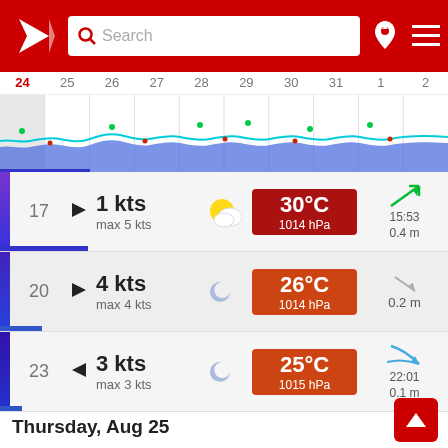Search
[Figure (screenshot): Calendar date strip showing dates 24-2 with weather line chart]
17  ◀  1 kts  max 5 kts  [partly cloudy]  30°C  1014 hPa  15:53  0.4 m
20  ▶  4 kts  max 4 kts  [moon]  26°C  1014 hPa  0.2 m
23  ◀  3 kts  max 3 kts  [moon]  25°C  1015 hPa  22:01  0.1 m
Thursday, Aug 25
Wind   Weather   Tides
02  ▶  4 kts  max 6 kts  [moon]  23°C  1016 hPa  0.4 m